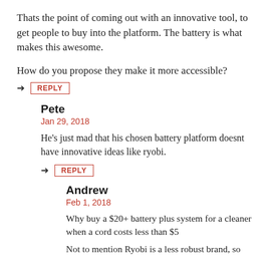Thats the point of coming out with an innovative tool, to get people to buy into the platform. The battery is what makes this awesome.
How do you propose they make it more accessible?
REPLY
Pete
Jan 29, 2018
He's just mad that his chosen battery platform doesnt have innovative ideas like ryobi.
REPLY
Andrew
Feb 1, 2018
Why buy a $20+ battery plus system for a cleaner when a cord costs less than $5
Not to mention Ryobi is a less robust brand, so